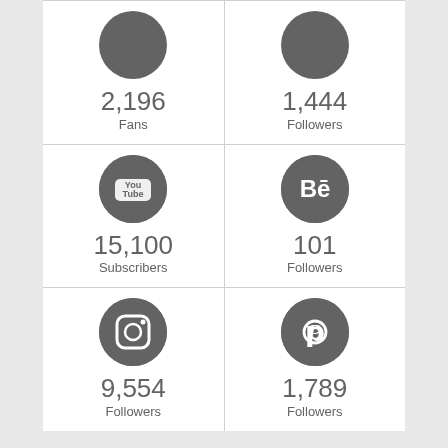[Figure (infographic): Social media stats grid showing 6 platforms: Facebook (2,196 Fans), Twitter (1,444 Followers), YouTube (15,100 Subscribers), Behance (101 Followers), Instagram (9,554 Followers), Pinterest (1,789 Followers)]
Subscribe
* indicates required
Email Address *